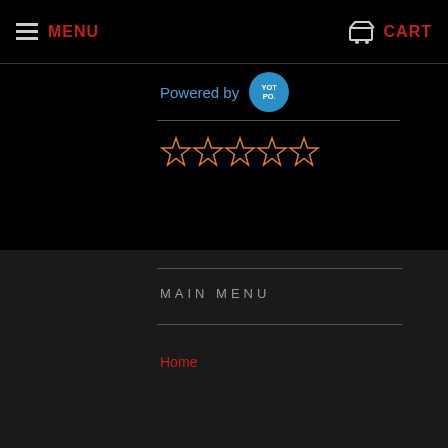MENU  CART
Powered by [YOTPO]
[Figure (other): Five orange outline star rating icons]
[Figure (other): Five filled blue star icons]
BE THE FIRST TO WRITE A REVIEW
MAIN MENU
Home